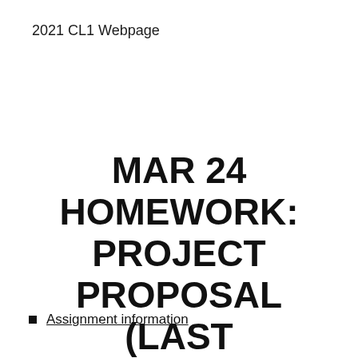2021 CL1 Webpage
MAR 24 HOMEWORK: PROJECT PROPOSAL (LAST CHANCE)
Assignment information